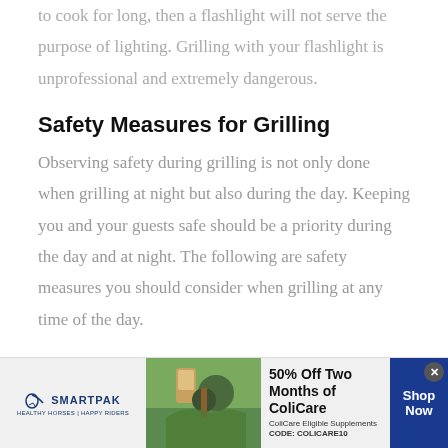to cook for long, then a flashlight will not serve the purpose of lighting. Grilling with your flashlight is unprofessional and extremely dangerous.
Safety Measures for Grilling
Observing safety during grilling is not only done when grilling at night but also during the day. Keeping you and your guests safe should be a priority during the day and at night. The following are safety measures you should consider when grilling at any time of the day.
[Figure (other): SmartPak advertisement banner: 50% Off Two Months of ColiCare, ColiCare Eligible Supplements, CODE: COLICARE10, Shop Now]